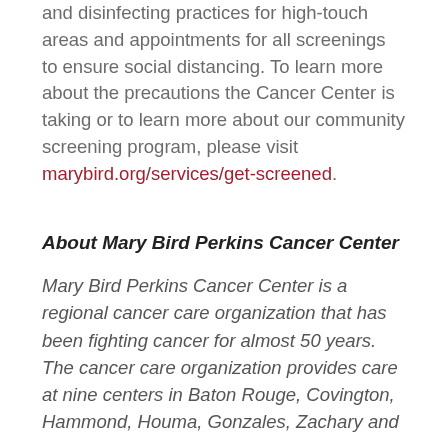and disinfecting practices for high-touch areas and appointments for all screenings to ensure social distancing. To learn more about the precautions the Cancer Center is taking or to learn more about our community screening program, please visit marybird.org/services/get-screened.
About Mary Bird Perkins Cancer Center
Mary Bird Perkins Cancer Center is a regional cancer care organization that has been fighting cancer for almost 50 years. The cancer care organization provides care at nine centers in Baton Rouge, Covington, Hammond, Houma, Gonzales, Zachary and